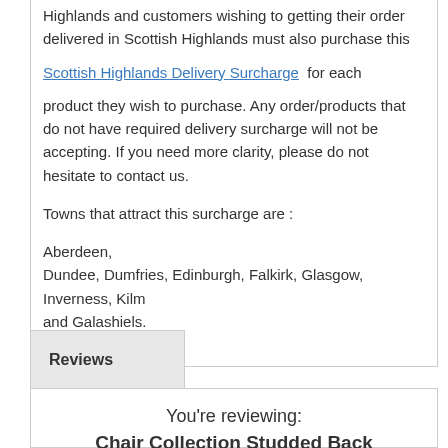Highlands and customers wishing to getting their order delivered in Scottish Highlands must also purchase this
Scottish Highlands Delivery Surcharge  for each product they wish to purchase. Any order/products that do not have required delivery surcharge will not be accepting. If you need more clarity, please do not hesitate to contact us.
Towns that attract this surcharge are :
Aberdeen,
Dundee, Dumfries, Edinburgh, Falkirk, Glasgow, Inverness, Kilm and Galashiels.
Reviews
You're reviewing:
Chair Collection Studded Back